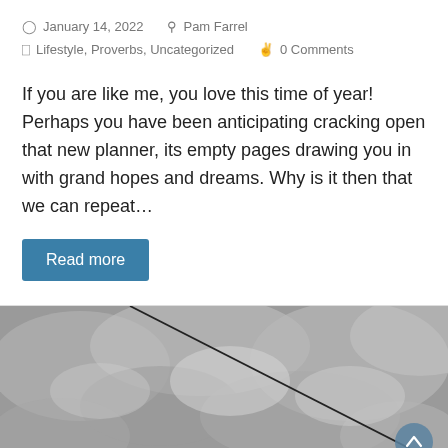January 14, 2022   Pam Farrel   Lifestyle, Proverbs, Uncategorized   0 Comments
If you are like me, you love this time of year! Perhaps you have been anticipating cracking open that new planner, its empty pages drawing you in with grand hopes and dreams. Why is it then that we can repeat…
Read more
[Figure (photo): Grayscale photo of overcast cloudy sky with a diagonal power line or wire across the frame. A circular back-to-top button with an upward chevron is visible in the lower right corner.]